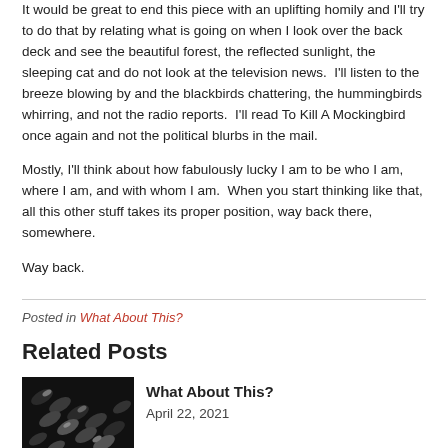It would be great to end this piece with an uplifting homily and I'll try to do that by relating what is going on when I look over the back deck and see the beautiful forest, the reflected sunlight, the sleeping cat and do not look at the television news.  I'll listen to the breeze blowing by and the blackbirds chattering, the hummingbirds whirring, and not the radio reports.  I'll read To Kill A Mockingbird once again and not the political blurbs in the mail.
Mostly, I'll think about how fabulously lucky I am to be who I am, where I am, and with whom I am.  When you start thinking like that, all this other stuff takes its proper position, way back there, somewhere.
Way back.
Posted in What About This?
Related Posts
[Figure (photo): Dark close-up photo of twisted rope or braided material, black and white tones]
What About This?
April 22, 2021